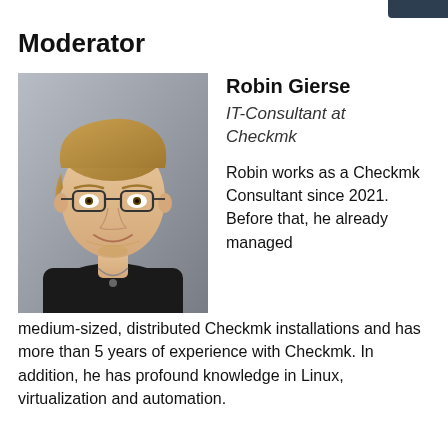Moderator
[Figure (photo): Headshot photo of Robin Gierse, a young man with blond hair, glasses, and a black shirt, smiling against a gray background.]
Robin Gierse
IT-Consultant at Checkmk

Robin works as a Checkmk Consultant since 2021. Before that, he already managed medium-sized, distributed Checkmk installations and has more than 5 years of experience with Checkmk. In addition, he has profound knowledge in Linux, virtualization and automation.